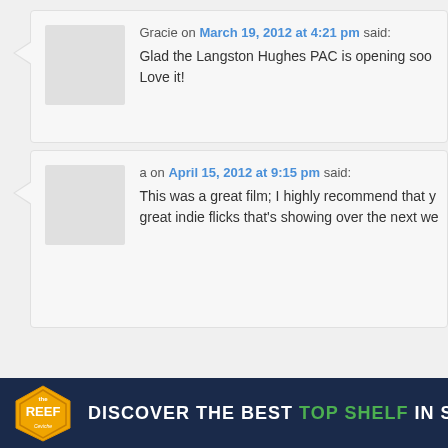Gracie on March 19, 2012 at 4:21 pm said: Glad the Langston Hughes PAC is opening soon. Love it!
a on April 15, 2012 at 9:15 pm said: This was a great film; I highly recommend that y... great indie flicks that's showing over the next we...
[Figure (infographic): Banner ad: The Reef logo (gold badge) with text DISCOVER THE BEST TOP SHELF IN SEATTLE on dark navy background]